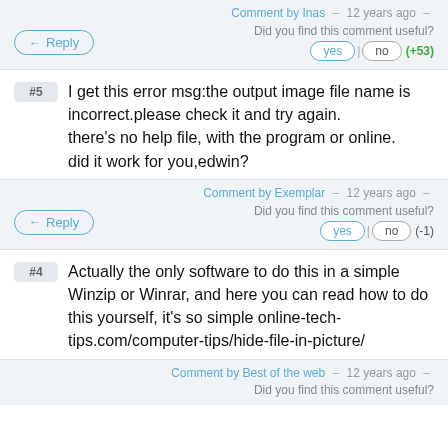Comment by Inas – 12 years ago –
Did you find this comment useful?
Reply | yes | no | (+53)
#5  I get this error msg:the output image file name is incorrect.please check it and try again.
there's no help file, with the program or online.
did it work for you,edwin?
Comment by Exemplar – 12 years ago –
Did you find this comment useful?
Reply | yes | no | (-1)
#4  Actually the only software to do this in a simple Winzip or Winrar, and here you can read how to do this yourself, it's so simple online-tech-tips.com/computer-tips/hide-file-in-picture/
Comment by Best of the web – 12 years ago –
Did you find this comment useful?